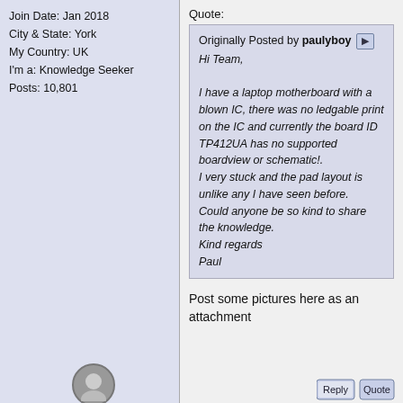Join Date: Jan 2018
City & State: York
My Country: UK
I'm a: Knowledge Seeker
Posts: 10,801
Quote:
Originally Posted by paulyboy
Hi Team,

I have a laptop motherboard with a blown IC, there was no ledgable print on the IC and currently the board ID TP412UA has no supported boardview or schematic!.
I very stuck and the pad layout is unlike any I have seen before.
Could anyone be so kind to share the knowledge.
Kind regards
Paul
Post some pictures here as an attachment